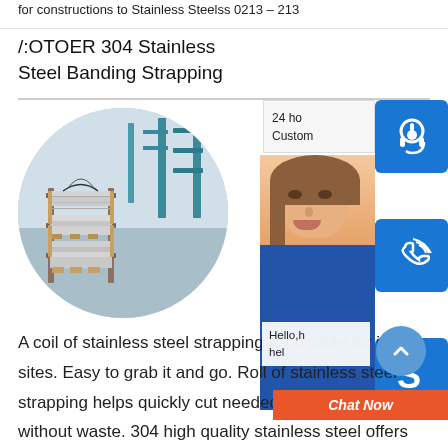for constructions to Stainless Steelss 0213 - 213
/:OTOER 304 Stainless Steel Banding Strapping
[Figure (photo): Circular cropped photo of stainless steel sheet stacks on a storage rack in an industrial warehouse setting]
[Figure (infographic): Customer service chat widget with headset icon, phone icon, Skype icon, advisor photo, '24 hour Customer' text, 'Hello, how can I help' bubble, and 'Chat Now' orange button]
A coil of stainless steel strapping is portable for job sites. Easy to grab it and go. Roll of stainless steel strapping helps quickly cut needed band length without waste. 304 high quality stainless steel offers